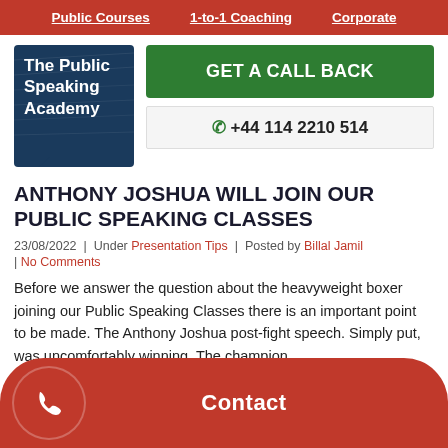Public Courses | 1-to-1 Coaching | Corporate
[Figure (logo): The Public Speaking Academy logo - dark blue square with white text and speech bubble tail]
GET A CALL BACK
+44 114 2210 514
ANTHONY JOSHUA WILL JOIN OUR PUBLIC SPEAKING CLASSES
23/08/2022 | Under Presentation Tips | Posted by Billal Jamil | No Comments
Before we answer the question about the heavyweight boxer joining our Public Speaking Classes there is an important point to be made. The Anthony Joshua post-fight speech. Simply put, was uncomfortably winning. The champion we... nian... was. Joshua's actions post-defeat where he
Contact